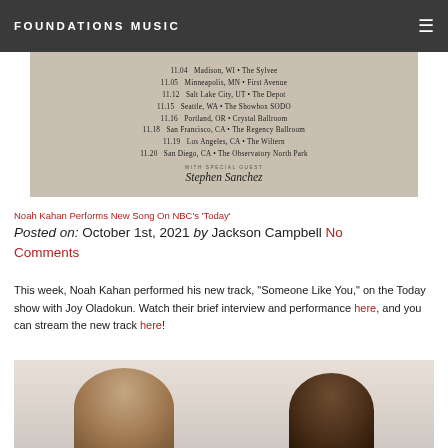FOUNDATIONS MUSIC
[Figure (other): Tour poster image with dates: 11.04 Madison, WI • The Sylvee, 11.05 Minneapolis, MN • First Avenue, 11.12 Salt Lake City, UT • The Depot, 11.15 Seattle, WA • The Showbox SODO, 11.16 Portland, OR • Crystal Ballroom, 11.18 San Francisco, CA • The Regency Ballroom, 11.19 Los Angeles, CA • The Wiltern, 11.20 San Diego, CA • The Observatory North Park. With Special Guest Stephen Sanchez.]
Noah Kahan Performs New Song On NBC's 'Today'
Posted on: October 1st, 2021 by Jackson Campbell No Comments
This week, Noah Kahan performed his new track, “Someone Like You,” on the Today show with Joy Oladokun. Watch their brief interview and performance here, and you can stream the new track here!
[Figure (photo): Photo of two musicians facing each other at microphones, one with long hair (Noah Kahan) and one with hair in a bun (Joy Oladokun), bright window light in background.]